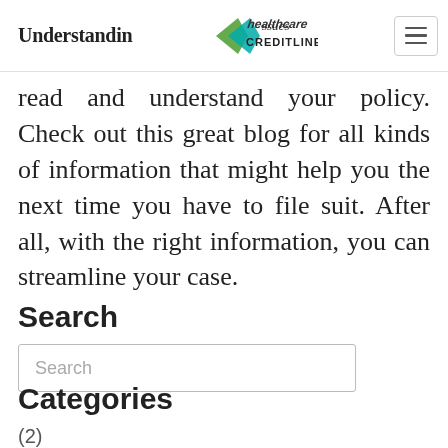Understanding healthcare issues
read and understand your policy. Check out this great blog for all kinds of information that might help you the next time you have to file suit. After all, with the right information, you can streamline your case.
Search
Search
Categories
(2)
blog (58)
insurance (56)